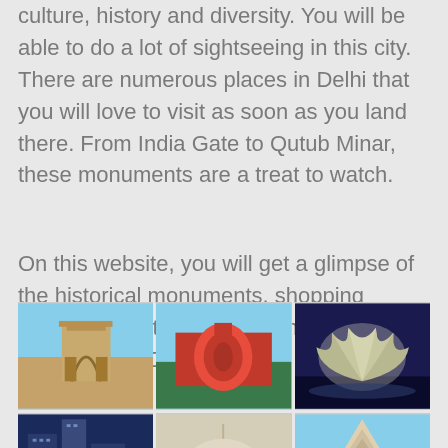culture, history and diversity. You will be able to do a lot of sightseeing in this city. There are numerous places in Delhi that you will love to visit as soon as you land there. From India Gate to Qutub Minar, these monuments are a treat to watch.
On this website, you will get a glimpse of the historical monuments, shopping places, essential services and other attractions in Delhi NCR.
[Figure (photo): A 3x2 grid of photos showing Delhi landmarks: India Gate, Jantar Mantar, Lotus Temple (top row), and city skyscrapers, a domed mosque, and a temple (bottom row, partially visible)]